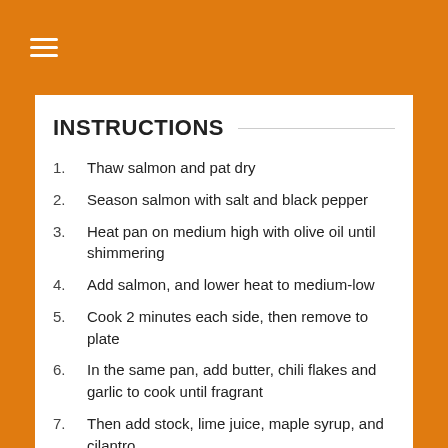☰
INSTRUCTIONS
Thaw salmon and pat dry
Season salmon with salt and black pepper
Heat pan on medium high with olive oil until shimmering
Add salmon, and lower heat to medium-low
Cook 2 minutes each side, then remove to plate
In the same pan, add butter, chili flakes and garlic to cook until fragrant
Then add stock, lime juice, maple syrup, and cilantro
Allow to simmer and reduce
Pour over cooked salmon and garnish